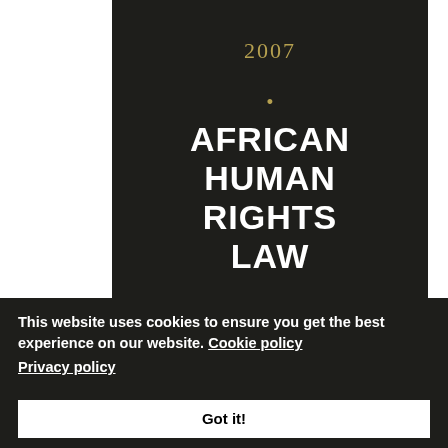[Figure (photo): Book cover of 'African Human Rights Law' (2007 edition) with dark background, gold spine strip, gold year '2007', gold dot, and large white title text]
AFRICAN HUMAN RIGHTS LAW
2007
This website uses cookies to ensure you get the best experience on our website. Cookie policy Privacy policy
Got it!